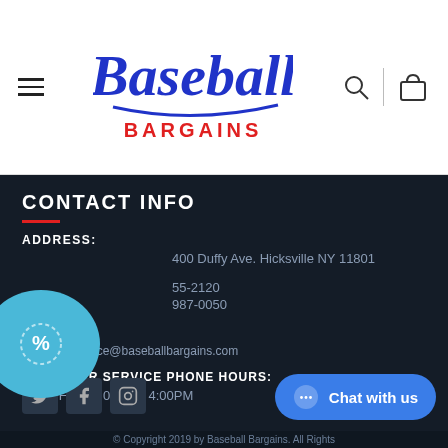[Figure (logo): Baseball Bargains logo with blue script text and red BARGAINS below]
CONTACT INFO
ADDRESS:
400 Duffy Ave. Hicksville NY 11801
55-2120
987-0050
EMAIL:
customerservice@baseballbargains.com
CUSTOMER SERVICE PHONE HOURS:
Mon - Fri / 10:00AM - 4:00PM
[Figure (illustration): Blue coupon/discount bubble icon on left side]
[Figure (illustration): Social media icons: Twitter, Facebook, Instagram]
[Figure (illustration): Chat with us button (blue pill shape)]
© Copyright 2019 by Baseball Bargains. All Rights